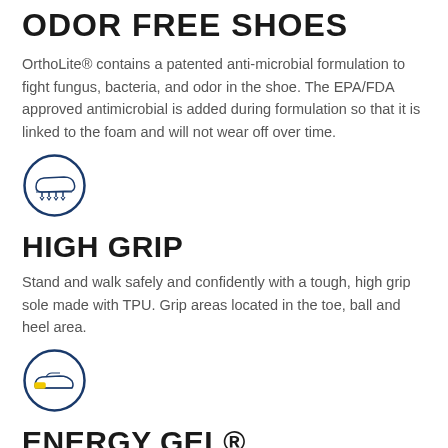ODOR FREE SHOES
OrthoLite® contains a patented anti-microbial formulation to fight fungus, bacteria, and odor in the shoe. The EPA/FDA approved antimicrobial is added during formulation so that it is linked to the foam and will not wear off over time.
[Figure (illustration): Circular icon with dark blue border containing an illustration of a shoe sole with grip spikes]
HIGH GRIP
Stand and walk safely and confidently with a tough, high grip sole made with TPU. Grip areas located in the toe, ball and heel area.
[Figure (illustration): Circular icon with dark blue border containing an illustration of a shoe with energy gel highlighted in yellow at the heel]
ENERGY GEL®
A whole working day on your feet takes its toll on the whole body,